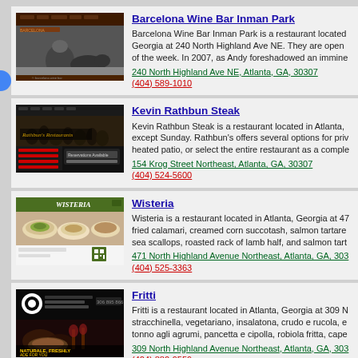[Figure (screenshot): Barcelona Wine Bar website screenshot showing bull-fighting black and white image]
Barcelona Wine Bar Inman Park
Barcelona Wine Bar Inman Park is a restaurant located in Georgia at 240 North Highland Ave NE. They are open of the week. In 2007, as Andy foreshadowed an immine
240 North Highland Ave NE, Atlanta, GA, 30307
(404) 589-1010
[Figure (screenshot): Kevin Rathbun Steak website screenshot showing Rathbun's Restaurant]
Kevin Rathbun Steak
Kevin Rathbun Steak is a restaurant located in Atlanta, except Sunday. Rathbun's offers several options for pri heated patio, or select the entire restaurant as a comple
154 Krog Street Northeast, Atlanta, GA, 30307
(404) 524-5600
[Figure (screenshot): Wisteria restaurant website screenshot showing food dishes and green header]
Wisteria
Wisteria is a restaurant located in Atlanta, Georgia at 47 fried calamari, creamed corn succotash, salmon tartare sea scallops, roasted rack of lamb half, and salmon tart
471 North Highland Avenue Northeast, Atlanta, GA, 303
(404) 525-3363
[Figure (screenshot): Fritti restaurant website screenshot showing food and drinks, dark background]
Fritti
Fritti is a restaurant located in Atlanta, Georgia at 309 N stracchinella, vegetariano, insalatona, crudo e rucola, e tonno agli agrumi, pancetta e cipolla, robiola fritta, cape
309 North Highland Avenue Northeast, Atlanta, GA, 303
(404) 880-9559